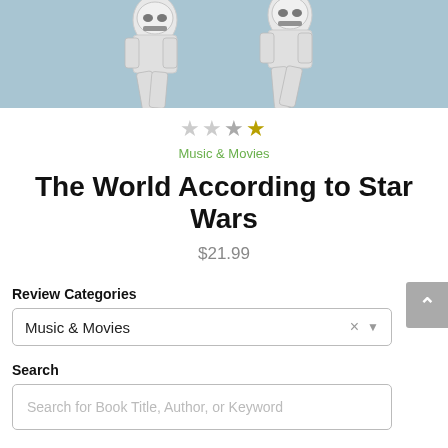[Figure (photo): Stormtrooper action figures on a light blue background, cropped at bottom]
[Figure (other): Star rating: 3 out of 4 stars (one empty, two filled grey, one filled gold)]
Music & Movies
The World According to Star Wars
$21.99
Review Categories
Music & Movies
Search
Search for Book Title, Author, or Keyword